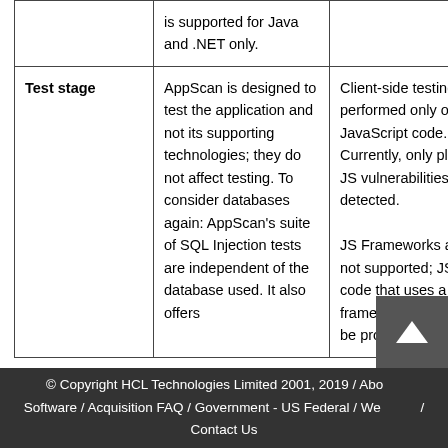|  | AppScan (DAST) | AppScan Source (SAST) |
| --- | --- | --- |
|  | is supported for Java and .NET only. |  |
| Test stage | AppScan is designed to test the application and not its supporting technologies; they do not affect testing. To consider databases again: AppScan's suite of SQL Injection tests are independent of the database used. It also offers | Client-side testing is performed only on JavaScript code. Currently, only plain JS vulnerabilities are detected.

JS Frameworks are not supported; JS code that uses a framework might not be properly analyzed. |
© Copyright HCL Technologies Limited 2001, 2019 / About / Software / Acquisition FAQ / Government - US Federal / Welcome / Contact Us